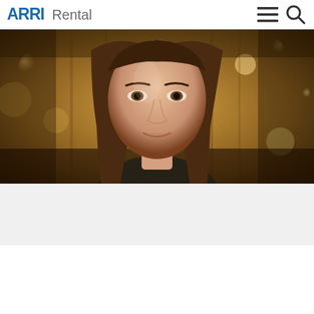[Figure (logo): ARRI Rental logo with blue bold ARRI text and gray Rental text]
[Figure (other): Hamburger menu icon (three horizontal lines) in dark gray]
[Figure (other): Search icon (magnifying glass outline) in dark gray]
[Figure (photo): Hero photo of a young woman with long brown hair, bokeh background of warm yellow lights (store/fair), looking at camera, close-up portrait]